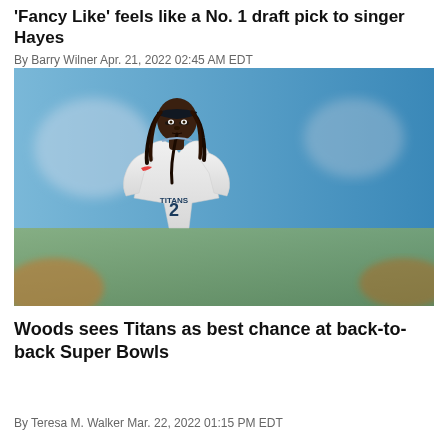'Fancy Like' feels like a No. 1 draft pick to singer Hayes
By Barry Wilner Apr. 21, 2022 02:45 AM EDT
[Figure (photo): Tennessee Titans football player wearing white Titans jersey with number 2, wearing a dark headband with dreadlocks, standing on field with blue stadium background]
Woods sees Titans as best chance at back-to-back Super Bowls
By Teresa M. Walker Mar. 22, 2022 01:15 PM EDT